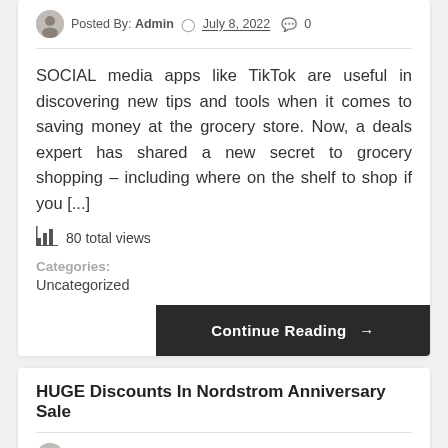Posted By: Admin  July 8, 2022  0
SOCIAL media apps like TikTok are useful in discovering new tips and tools when it comes to saving money at the grocery store. Now, a deals expert has shared a new secret to grocery shopping – including where on the shelf to shop if you [...]
80 total views
Categories:
Uncategorized
Continue Reading →
HUGE Discounts In Nordstrom Anniversary Sale
Posted By: Admin  July 5, 2022  0